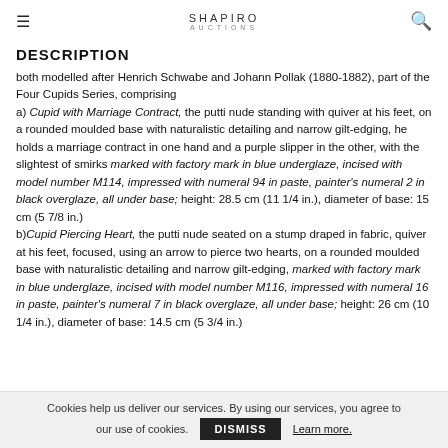≡  SHAPIRO AUCTIONS  🔍
DESCRIPTION
both modelled after Henrich Schwabe and Johann Pollak (1880-1882), part of the Four Cupids Series, comprising
a) Cupid with Marriage Contract, the putti nude standing with quiver at his feet, on a rounded moulded base with naturalistic detailing and narrow gilt-edging, he holds a marriage contract in one hand and a purple slipper in the other, with the slightest of smirks marked with factory mark in blue underglaze, incised with model number M114, impressed with numeral 94 in paste, painter's numeral 2 in black overglaze, all under base; height: 28.5 cm (11 1/4 in.), diameter of base: 15 cm (5 7/8 in.)
b)Cupid Piercing Heart, the putti nude seated on a stump draped in fabric, quiver at his feet, focused, using an arrow to pierce two hearts, on a rounded moulded base with naturalistic detailing and narrow gilt-edging, marked with factory mark in blue underglaze, incised with model number M116, impressed with numeral 16 in paste, painter's numeral 7 in black overglaze, all under base; height: 26 cm (10 1/4 in.), diameter of base: 14.5 cm (5 3/4 in.)
Cookies help us deliver our services. By using our services, you agree to our use of cookies.  DISMISS  Learn more.